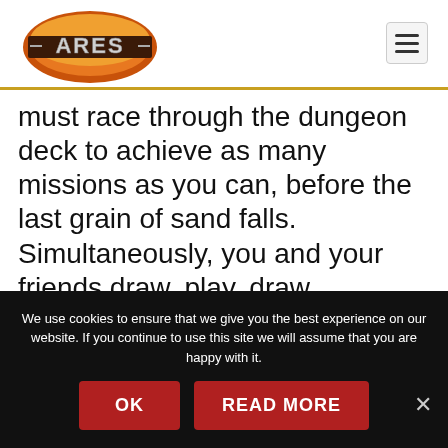[Figure (logo): ARES game logo with orange/red layered badge shape and ARES text in metallic letters]
must race through the dungeon deck to achieve as many missions as you can, before the last grain of sand falls. Simultaneously, you and your friends draw, play, draw, frantically looking for all the items you need to complete your
We use cookies to ensure that we give you the best experience on our website. If you continue to use this site we will assume that you are happy with it.
OK
READ MORE